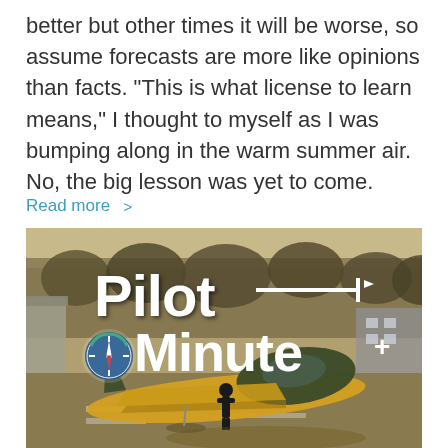better but other times it will be worse, so assume forecasts are more like opinions than facts. “This is what license to learn means,” I thought to myself as I was bumping along in the warm summer air. No, the big lesson was yet to come.
Read more >
[Figure (photo): Outdoor airfield scene showing vintage military trainer aircraft (yellow and dark green) on tarmac with a person standing nearby. White text overlay reads 'Pilot Minute' with a compass/clock graphic emblem and airplane silhouette icon. Trees visible in background.]